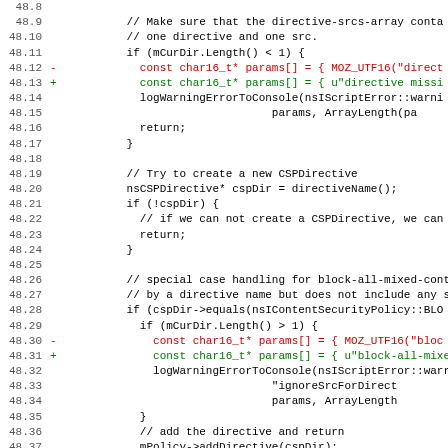Source code diff showing lines 48.8 through 48.39 of a C++ file with diff markers (- removed lines in red, + added lines in green) and code in monospace font.